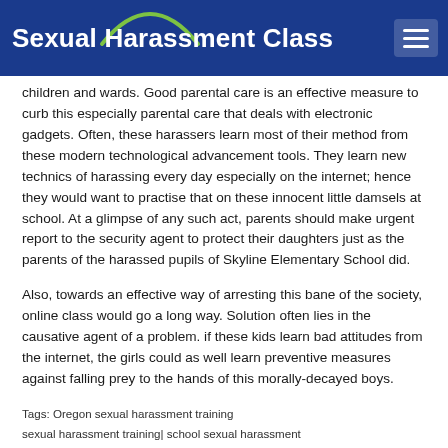Sexual Harassment Class
children and wards. Good parental care is an effective measure to curb this especially parental care that deals with electronic gadgets. Often, these harassers learn most of their method from these modern technological advancement tools. They learn new technics of harassing every day especially on the internet; hence they would want to practise that on these innocent little damsels at school. At a glimpse of any such act, parents should make urgent report to the security agent to protect their daughters just as the parents of the harassed pupils of Skyline Elementary School did.
Also, towards an effective way of arresting this bane of the society, online class would go a long way. Solution often lies in the causative agent of a problem. if these kids learn bad attitudes from the internet, the girls could as well learn preventive measures against falling prey to the hands of this morally-decayed boys.
Tags: Oregon sexual harassment training sexual harassment training| school sexual harassment
© 2005-2022 AJ Novick Group, Inc. | Privacy Policy | Site Map | Terms of Use